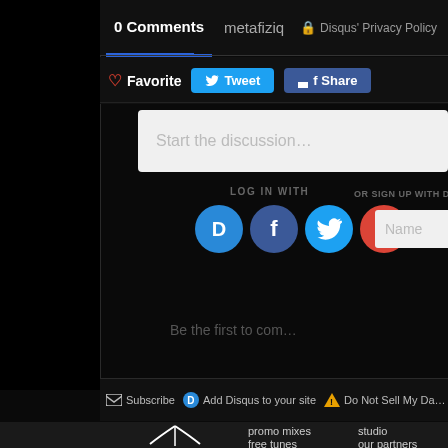0 Comments   metafiziq   🔒 Disqus' Privacy Policy
♡ Favorite  Tweet  Share
Start the discussion…
LOG IN WITH
OR SIGN UP WITH DISQUS ?
[Figure (screenshot): Login icons: Disqus (D), Facebook (f), Twitter bird, Google (G) — colored circles]
Name
Be the first to com…
✉ Subscribe   D Add Disqus to your site   ⚠ Do Not Sell My Da…
promo mixes
free tunes
studio
our partners